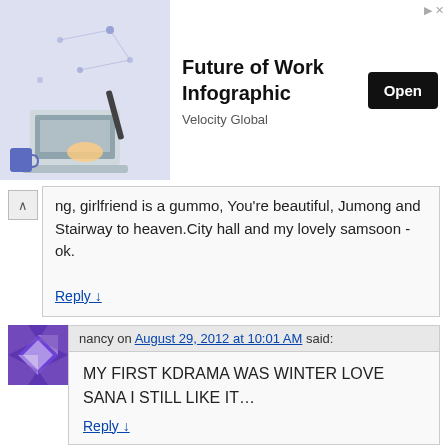[Figure (infographic): Advertisement banner: 'Future of Work Infographic' by Velocity Global with Open button, showing illustration of person at laptop with world map background]
ng, girlfriend is a gummo, You're beautiful, Jumong and Stairway to heaven.City hall and my lovely samsoon -ok.
Reply ↓
nancy on August 29, 2012 at 10:01 AM said:
MY FIRST KDRAMA WAS WINTER LOVE SANA I STILL LIKE IT…
Reply ↓
nancy on August 29, 2012 at 10:22 AM said:
MY FIRST KDRAMA WAS WINTER LOVE Sonata STILL LIKE IT…
Reply ↓